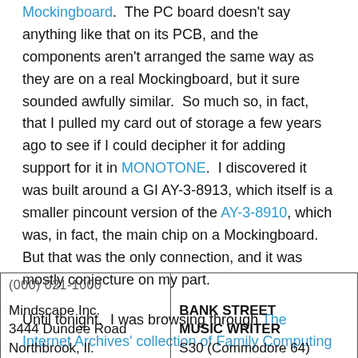Mockingboard. The PC board doesn't say anything like that on its PCB, and the components aren't arranged the same way as they are on a real Mockingboard, but it sure sounded awfully similar. So much so, in fact, that I pulled my card out of storage a few years ago to see if I could decipher it for adding support for it in MONOTONE. I discovered it was built around a GI AY-3-8913, which itself is a smaller pincount version of the AY-3-8910, which was, in fact, the main chip on a Mockingboard. But that was the only connection, and it was mostly conjecture on my part.
Until tonight. I was browsing through The Internet Archives' collection of Family Computing Magazines (thank you, Mr. Scott) when this caught my eye:
| (000) 021-1000 |  |
| Mindscape Inc.
3444 Dundee Road
Northbrook, Il. | BANK STREET
MUSIC WRITER
S30 (Commodore 64) |